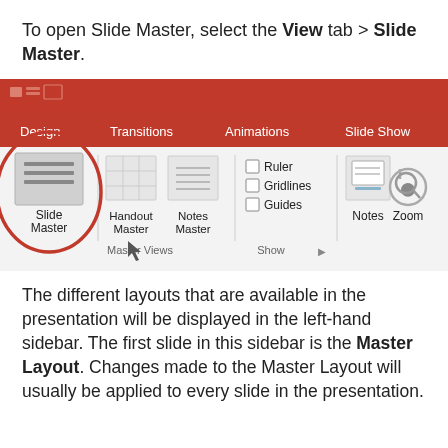To open Slide Master, select the View tab > Slide Master.
[Figure (screenshot): Screenshot of PowerPoint ribbon showing the View tab with Slide Master button circled in red. The ribbon shows Design, Transitions, Animations, Slide Show tabs. Below is the Master Views group with Slide Master, Handout Master, Notes Master buttons; Show group with Ruler, Gridlines, Guides checkboxes; Notes button; and Zoom button. The Slide Master button is highlighted with a red circle.]
The different layouts that are available in the presentation will be displayed in the left-hand sidebar. The first slide in this sidebar is the Master Layout. Changes made to the Master Layout will usually be applied to every slide in the presentation.